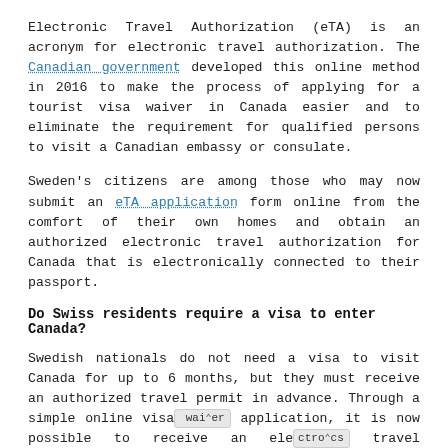Electronic Travel Authorization (eTA) is an acronym for electronic travel authorization. The Canadian government developed this online method in 2016 to make the process of applying for a tourist visa waiver in Canada easier and to eliminate the requirement for qualified persons to visit a Canadian embassy or consulate.
Sweden's citizens are among those who may now submit an eTA application form online from the comfort of their own homes and obtain an authorized electronic travel authorization for Canada that is electronically connected to their passport.
Do Swiss residents require a visa to enter Canada?
Swedish nationals do not need a visa to visit Canada for up to 6 months, but they must receive an authorized travel permit in advance. Through a simple online visa waiver application, it is now possible to receive an electronics travel authorization (eTA) for Canada from Sweden without